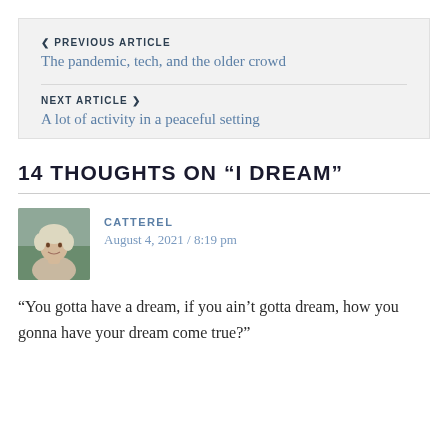< PREVIOUS ARTICLE
The pandemic, tech, and the older crowd
NEXT ARTICLE >
A lot of activity in a peaceful setting
14 THOUGHTS ON “I DREAM”
CATTEREL
August 4, 2021 / 8:19 pm
“You gotta have a dream, if you ain’t gotta dream, how you gonna have your dream come true?”